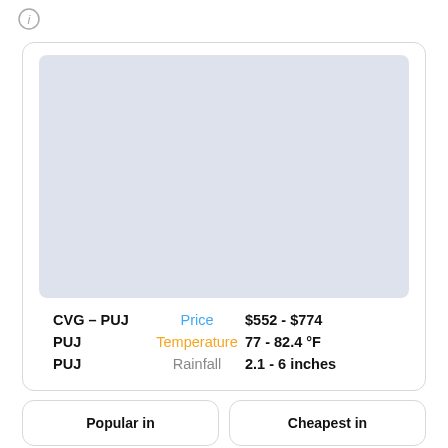[Figure (illustration): Circle info icon (i) in top left corner]
[Figure (map): Light blue-grey map placeholder image]
CVG – PUJ   Price   $552 - $774
PUJ   Temperature   77 - 82.4 °F
PUJ   Rainfall   2.1 - 6 inches
Popular in
Cheapest in